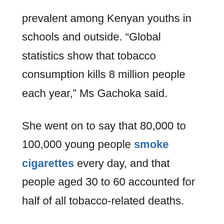prevalent among Kenyan youths in schools and outside. “Global statistics show that tobacco consumption kills 8 million people each year,” Ms Gachoka said.
She went on to say that 80,000 to 100,000 young people smoke cigarettes every day, and that people aged 30 to 60 accounted for half of all tobacco-related deaths.
According to her, approximately 6,000 cigarette smokers and users of tobacco and